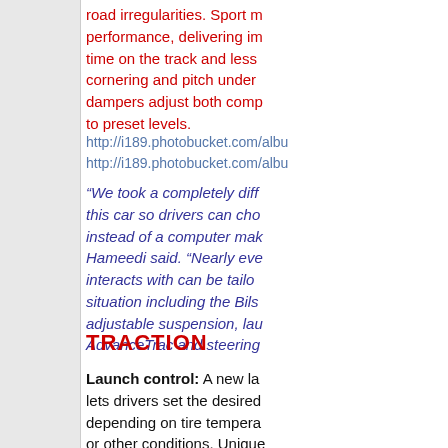road irregularities. Sport m performance, delivering im time on the track and less cornering and pitch under dampers adjust both comp to preset levels.
http://i189.photobucket.com/albu http://i189.photobucket.com/albu
“We took a completely diff this car so drivers can cho instead of a computer mak Hameedi said. “Nearly eve interacts with can be tailo situation including the Bils adjustable suspension, lau AdvanceTrac and steering
TRACTION
Launch control: A new la lets drivers set the desired depending on tire tempera or other conditions. Unique